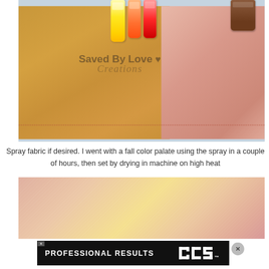[Figure (photo): A fabric piece dyed in fall colors (yellow-orange to pink gradient) laid on a blue surface, with several dye bottles (yellow, orange, red) at the top and a 'Saved By Love Creations' watermark stamped on the fabric.]
Spray fabric if desired. I went with a fall color palate using the spray in a couple of hours, then set by drying in machine on high heat
[Figure (photo): Close-up of fabric dyed in warm fall colors — pink, peach, and yellow tones blending across the surface.]
[Figure (photo): Advertisement banner: black background with white text 'PROFESSIONAL RESULTS' and a logo 'DCS' on the right, with a close button.]